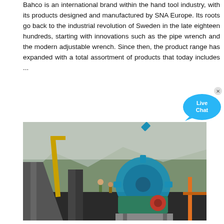Bahco is an international brand within the hand tool industry, with its products designed and manufactured by SNA Europe. Its roots go back to the industrial revolution of Sweden in the late eighteen hundreds, starting with innovations such as the pipe wrench and the modern adjustable wrench. Since then, the product range has expanded with a total assortment of products that today includes ...
[Figure (infographic): Contact bar with red icon section showing envelope icon and dark grey section with bold text MAKIPAG-UGNAYAN SA AMIN, plus Live Chat speech bubble on the right]
[Figure (photo): Industrial mining or quarrying site with workers, large blue gear/wheel machinery, yellow crane, and mountainous background]
HB Channel